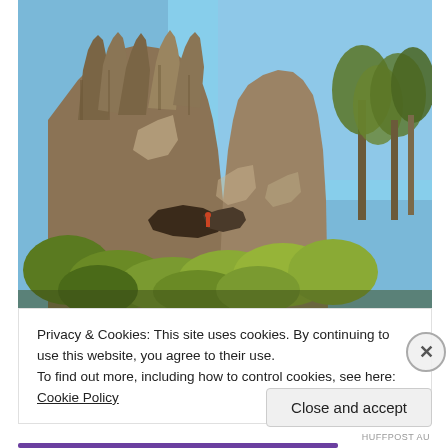[Figure (photo): Photograph of tall rocky cliff formation with sparse vegetation, green shrubs at base, eucalyptus trees on right side, blue sky background. Rock face is light grey/tan limestone or sandstone.]
Privacy & Cookies: This site uses cookies. By continuing to use this website, you agree to their use.
To find out more, including how to control cookies, see here: Cookie Policy
Close and accept